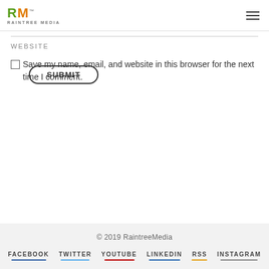[Figure (logo): Raintree Media logo with RM letters in green and orange, with tagline RAINTREE MEDIA]
WEBSITE
Save my name, email, and website in this browser for the next time I comment.
SUBMIT
© 2019 RaintreeMedia
FACEBOOK
TWITTER
YOUTUBE
LINKEDIN
RSS
INSTAGRAM